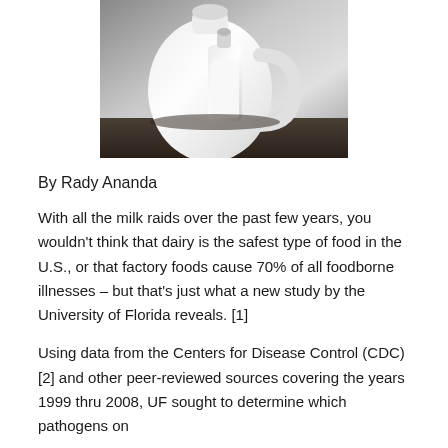[Figure (photo): Photo of a large white plastic milk jug and a smaller glass bottle of milk on a dark surface with a light background]
By Rady Ananda
With all the milk raids over the past few years, you wouldn't think that dairy is the safest type of food in the U.S., or that factory foods cause 70% of all foodborne illnesses – but that's just what a new study by the University of Florida reveals. [1]
Using data from the Centers for Disease Control (CDC) [2] and other peer-reviewed sources covering the years 1999 thru 2008, UF sought to determine which pathogens on